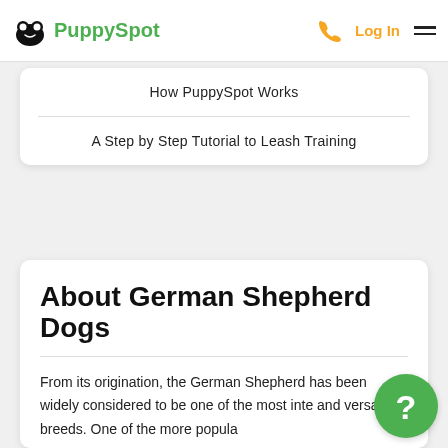PuppySpot | Log In
How PuppySpot Works
A Step by Step Tutorial to Leash Training
About German Shepherd Dogs
From its origination, the German Shepherd has been widely considered to be one of the most inte... and versatile breeds. One of the more popula...